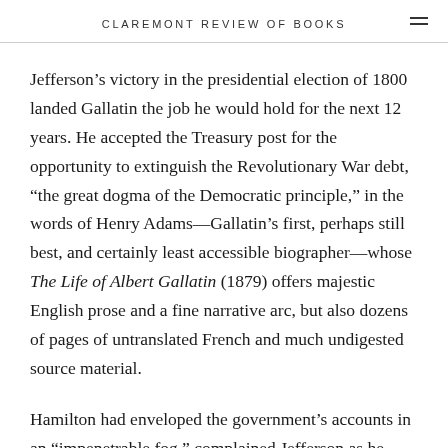CLAREMONT REVIEW OF BOOKS
Jefferson’s victory in the presidential election of 1800 landed Gallatin the job he would hold for the next 12 years. He accepted the Treasury post for the opportunity to extinguish the Revolutionary War debt, “the great dogma of the Democratic principle,” in the words of Henry Adams—Gallatin’s first, perhaps still best, and certainly least accessible biographer—whose The Life of Albert Gallatin (1879) offers majestic English prose and a fine narrative arc, but also dozens of pages of untranslated French and much undigested source material.
Hamilton had enveloped the government’s accounts in an “impenetrable fog,” complained Jefferson as he